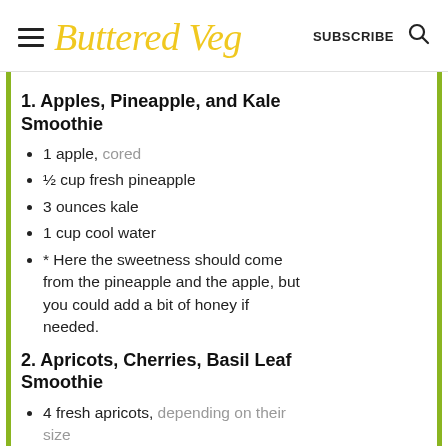Buttered Veg  SUBSCRIBE
1. Apples, Pineapple, and Kale Smoothie
1 apple, cored
½ cup fresh pineapple
3 ounces kale
1 cup cool water
* Here the sweetness should come from the pineapple and the apple, but you could add a bit of honey if needed.
2. Apricots, Cherries, Basil Leaf Smoothie
4 fresh apricots, depending on their size
½ cup cherries, I used defrosted